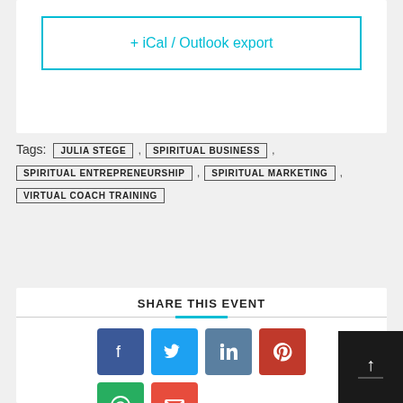+ iCal / Outlook export
Tags: JULIA STEGE , SPIRITUAL BUSINESS , SPIRITUAL ENTREPRENEURSHIP , SPIRITUAL MARKETING , VIRTUAL COACH TRAINING
SHARE THIS EVENT
[Figure (infographic): Social media share buttons: Facebook, Twitter, LinkedIn, Pinterest, WhatsApp, Email]